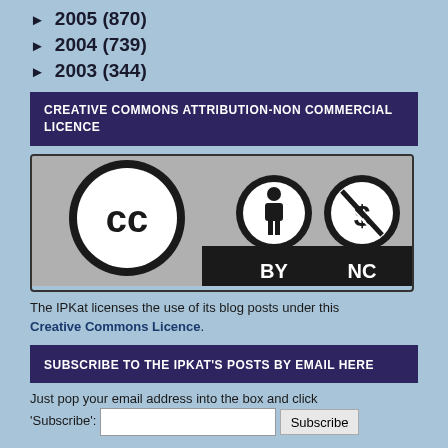► 2005 (870)
► 2004 (739)
► 2003 (344)
CREATIVE COMMONS ATTRIBUTION-NON COMMERCIAL LICENCE
[Figure (logo): Creative Commons Attribution-NonCommercial (BY NC) license badge showing CC, BY, and NC icons]
The IPKat licenses the use of its blog posts under this Creative Commons Licence.
SUBSCRIBE TO THE IPKAT'S POSTS BY EMAIL HERE
Just pop your email address into the box and click 'Subscribe':